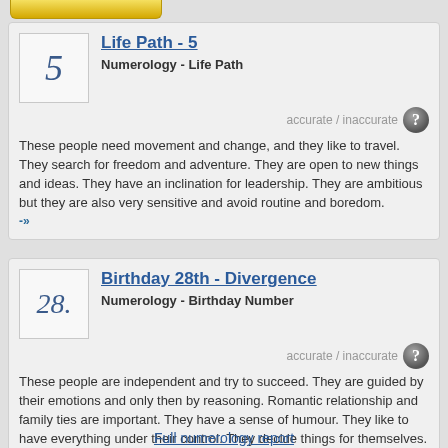Life Path - 5
Numerology - Life Path
accurate / inaccurate
These people need movement and change, and they like to travel. They search for freedom and adventure. They are open to new things and ideas. They have an inclination for leadership. They are ambitious but they are also very sensitive and avoid routine and boredom. -»
Birthday 28th - Divergence
Numerology - Birthday Number
accurate / inaccurate
These people are independent and try to succeed. They are guided by their emotions and only then by reasoning. Romantic relationship and family ties are important. They have a sense of humour. They like to have everything under their control. They decide things for themselves. -»
Full numerology report